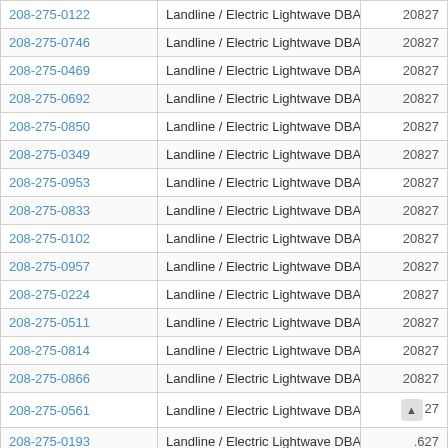| Phone | Type | ZIP |
| --- | --- | --- |
| 208-275-0122 | Landline / Electric Lightwave DBA Integra Telecom | 20827 |
| 208-275-0746 | Landline / Electric Lightwave DBA Integra Telecom | 20827 |
| 208-275-0469 | Landline / Electric Lightwave DBA Integra Telecom | 20827 |
| 208-275-0692 | Landline / Electric Lightwave DBA Integra Telecom | 20827 |
| 208-275-0850 | Landline / Electric Lightwave DBA Integra Telecom | 20827 |
| 208-275-0349 | Landline / Electric Lightwave DBA Integra Telecom | 20827 |
| 208-275-0953 | Landline / Electric Lightwave DBA Integra Telecom | 20827 |
| 208-275-0833 | Landline / Electric Lightwave DBA Integra Telecom | 20827 |
| 208-275-0102 | Landline / Electric Lightwave DBA Integra Telecom | 20827 |
| 208-275-0957 | Landline / Electric Lightwave DBA Integra Telecom | 20827 |
| 208-275-0224 | Landline / Electric Lightwave DBA Integra Telecom | 20827 |
| 208-275-0511 | Landline / Electric Lightwave DBA Integra Telecom | 20827 |
| 208-275-0814 | Landline / Electric Lightwave DBA Integra Telecom | 20827 |
| 208-275-0866 | Landline / Electric Lightwave DBA Integra Telecom | 20827 |
| 208-275-0561 | Landline / Electric Lightwave DBA Integra Telecom | 27 |
| 208-275-0193 | Landline / Electric Lightwave DBA Integra Telecom | .627 |
| 208-275-0926 | Landline / Electric Lightwave DBA Integra Telecom | 20827 |
| 208-275-0058 | Landline / Electric Lightwave DBA Integra Telecom | 20827 |